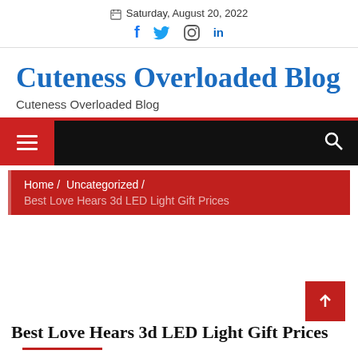Saturday, August 20, 2022
Cuteness Overloaded Blog
Cuteness Overloaded Blog
[Figure (screenshot): Black navigation bar with red hamburger menu button on left and white search icon on right]
Home / Uncategorized / Best Love Hears 3d LED Light Gift Prices
Best Love Hears 3d LED Light Gift Prices